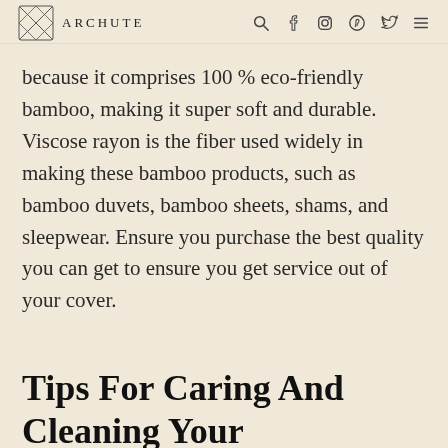ARCHUTE
because it comprises 100 % eco-friendly bamboo, making it super soft and durable. Viscose rayon is the fiber used widely in making these bamboo products, such as bamboo duvets, bamboo sheets, shams, and sleepwear. Ensure you purchase the best quality you can get to ensure you get service out of your cover.
Tips For Caring And Cleaning Your